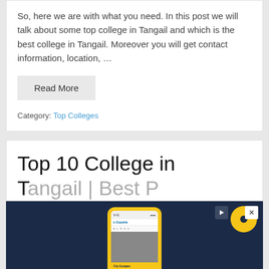So, here we are with what you need. In this post we will talk about some top college in Tangail and which is the best college in Tangail. Moreover you will get contact information, location, ...
Read More
Category: Top Colleges
Top 10 College in T...
[Figure (screenshot): Advertisement banner with dark navy background showing Expedia app on a yellow phone mockup, with close and play buttons, and 'Screen images simulated' text at bottom right.]